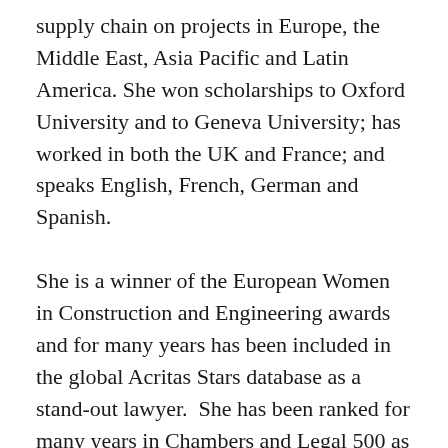supply chain on projects in Europe, the Middle East, Asia Pacific and Latin America. She won scholarships to Oxford University and to Geneva University; has worked in both the UK and France; and speaks English, French, German and Spanish.
She is a winner of the European Women in Construction and Engineering awards and for many years has been included in the global Acritas Stars database as a stand-out lawyer.  She has been ranked for many years in Chambers and Legal 500 as a Leading Individual and is described as "very experienced and strategic" and "very pragmatic, proactive, clear, transparent in her advice - everything in-house